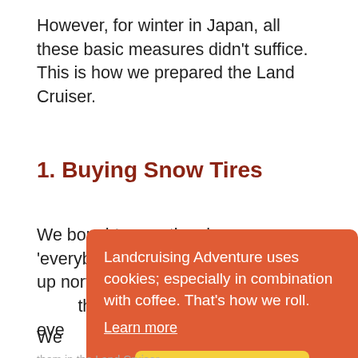However, for winter in Japan, all these basic measures didn’t suffice. This is how we prepared the Land Cruiser.
1. Buying Snow Tires
We bought snow tires because ‘everybody’ told us we’d need them up north. ‘Everybody’ in Jap[an] the[y] dec[ided] gri[p] eve[ryone]
Landcruising Adventure uses cookies; especially in combination with coffee. That’s how we roll.
Learn more
Got it!
We [next dead short drinks and] don’t carry them in the Land Cruiser...